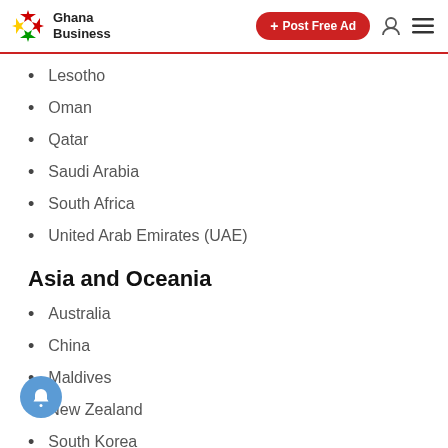Ghana Business | + Post Free Ad
Lesotho
Oman
Qatar
Saudi Arabia
South Africa
United Arab Emirates (UAE)
Asia and Oceania
Australia
China
Maldives
New Zealand
South Korea